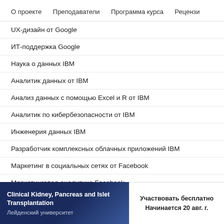О проекте   Преподаватели   Программа курса   Рецензи
UX-дизайн от Google
ИТ-поддержка Google
Наука о данных IBM
Аналитик данных от IBM
Анализ данных с помощью Excel и R от IBM
Аналитик по кибербезопасности от IBM
Инженерия данных IBM
Разработчик комплексных облачных приложений IBM
Маркетинг в социальных сетях от Facebook
Маркетинговая аналитика Facebook
Представитель по развитию продаж от Salesforce
Clinical Kidney, Pancreas and Islet Transplantation
Лейденский университет
Участвовать бесплатно
Начинается 20 авг. г.